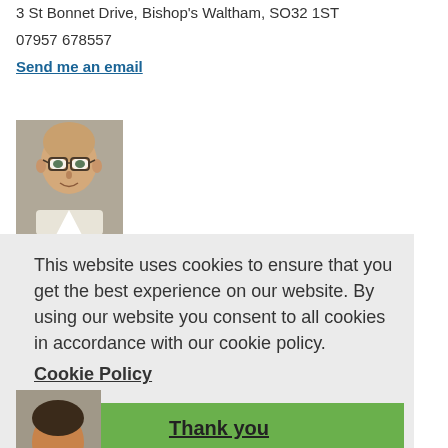3 St Bonnet Drive, Bishop's Waltham, SO32 1ST
07957 678557
Send me an email
[Figure (photo): Headshot of a bald man wearing glasses, smiling, in a light-coloured jacket against a muted background]
This website uses cookies to ensure that you get the best experience on our website. By using our website you consent to all cookies in accordance with our cookie policy.
Cookie Policy
Thank you
[Figure (photo): Partial headshot of a person at the bottom of the page]